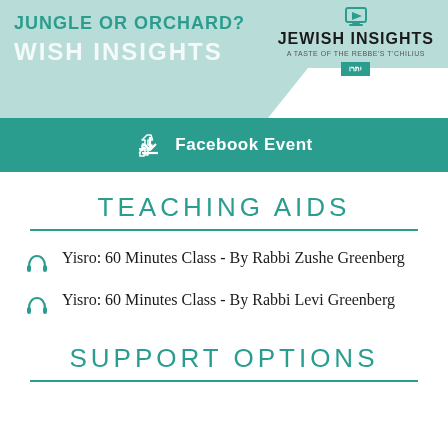[Figure (illustration): Banner with 'JUNGLE OR ORCHARD? WISH INSIGHTS' on the left over a light teal background, and 'JEWISH INSIGHTS - A TASTE OF THE REBBE'S TZIVIA' with a teal box on the right, with a white diagonal shape at bottom right.]
Facebook Event
TEACHING AIDS
Yisro: 60 Minutes Class - By Rabbi Zushe Greenberg
Yisro: 60 Minutes Class - By Rabbi Levi Greenberg
SUPPORT OPTIONS